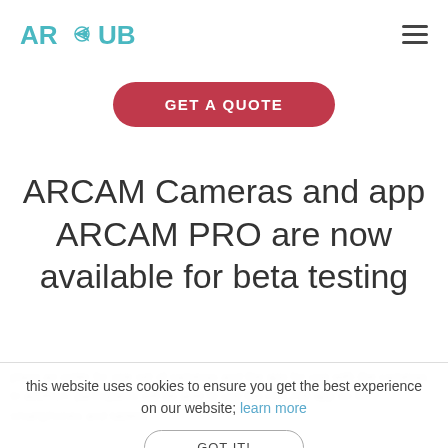ARWUB
GET A QUOTE
ARCAM Cameras and app ARCAM PRO are now available for beta testing
this website uses cookies to ensure you get the best experience on our website; learn more
GOT IT!